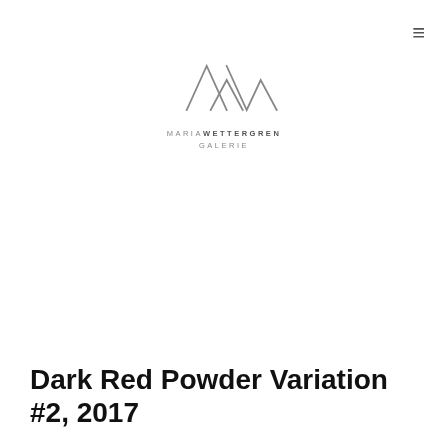≡
[Figure (logo): Maria Wettergren Galerie logo — geometric zigzag/mountain line mark above the text MARIAWETTERGREN GALERIE in spaced caps]
Dark Red Powder Variation #2, 2017